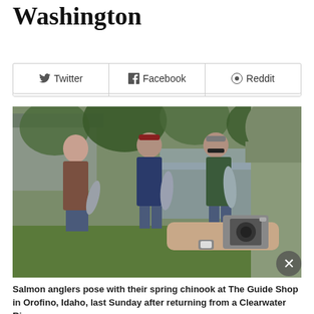Washington
[Figure (photo): Salmon anglers pose with their spring chinook at The Guide Shop in Orofino, Idaho, last Sunday after returning from a Clearwater River fishing trip. A person in the foreground holds a camera photographing the group.]
Salmon anglers pose with their spring chinook at The Guide Shop in Orofino, Idaho, last Sunday after returning from a Clearwater River